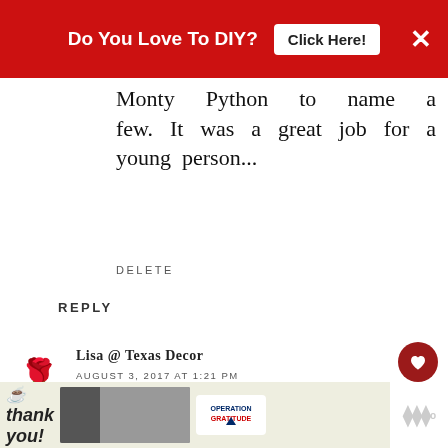[Figure (screenshot): Red advertisement banner at top: 'Do You Love To DIY?' with 'Click Here!' button and X close button]
Monty Python to name a few. It was a great job for a young person...
DELETE
REPLY
Lisa @ Texas Decor
AUGUST 3, 2017 AT 1:21 PM
I've always said they should have a "good news only" channel. that, for sure. :)
[Figure (screenshot): Bottom advertisement banner with 'thank you!' text, firefighters image, and Operation Gratitude logo]